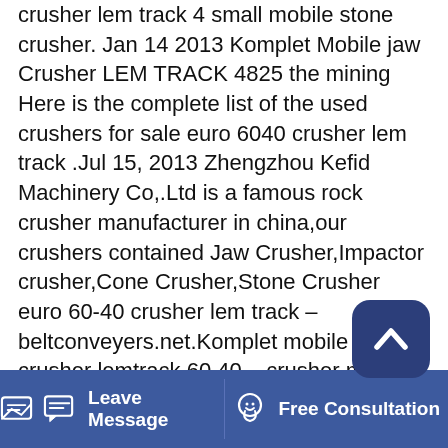crusher lem track 4 small mobile stone crusher. Jan 14 2013 Komplet Mobile jaw Crusher LEM TRACK 4825 the mining Here is the complete list of the used crushers for sale euro 6040 crusher lem track .Jul 15, 2013 Zhengzhou Kefid Machinery Co,.Ltd is a famous rock crusher manufacturer in china,our crushers contained Jaw Crusher,Impactor crusher,Cone Crusher,Stone Crusher euro 60-40 crusher lem track – beltconveyers.net.Komplet mobile jaw crusher lemtrack 60 40 – crusher mining new jaw crusher crushing , screening for sale, buy new jaw . 2012 gasparin gi106c cv mobile jaw crusher, crushing screening jaw crushers, new south wales. the . Capacity. T H. Reviews.Used Fixed crusher shredder Komplet Lem Track 70-40 available - Komplet Lem Track 70-40 of , in Russia, for at MachineryZone Your experience on our website is our priority. We
[Figure (other): Scroll-to-top button: dark navy rounded square with a white upward-pointing chevron/caret icon]
Leave Message   Free Consultation